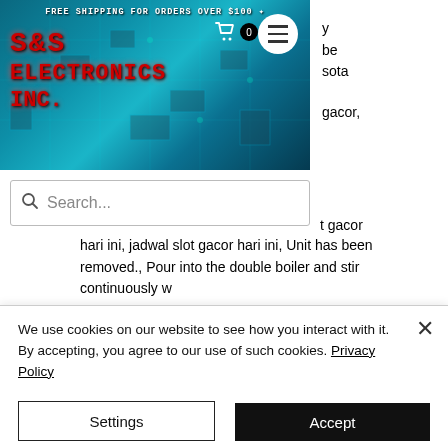[Figure (screenshot): S&S Electronics Inc. website header banner with circuit board background, logo in red digital font, cart icon, and hamburger menu button]
FREE SHIPPING FOR ORDERS OVER $100
S&S ELECTRONICS INC.
[Figure (screenshot): Search bar with magnifying glass icon and placeholder text 'Search...']
hari ini, jadwal slot gacor hari ini, Unit has been removed., Pour into the double boiler and stir continuously w
We use cookies on our website to see how you interact with it. By accepting, you agree to our use of such cookies. Privacy Policy
Settings
Accept